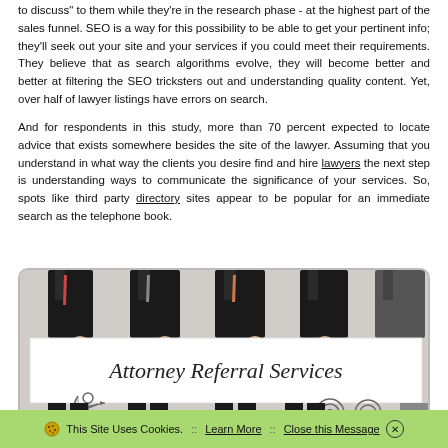to discuss" to them while they're in the research phase - at the highest part of the sales funnel. SEO is a way for this possibility to be able to get your pertinent info; they'll seek out your site and your services if you could meet their requirements. They believe that as search algorithms evolve, they will become better and better at filtering the SEO tricksters out and understanding quality content. Yet, over half of lawyer listings have errors on search.
And for respondents in this study, more than 70 percent expected to locate advice that exists somewhere besides the site of the lawyer. Assuming that you understand in what way the clients you desire find and hire lawyers the next step is understanding ways to communicate the significance of your services. So, spots like third party directory sites appear to be popular for an immediate search as the telephone book.
[Figure (photo): Business professionals in suits holding a large white sign that reads 'Attorney Referral Services'. The sign has hand-drawn illustrations of an archer on the left and target/archery icons on the right.]
🍪 This Site Uses Cookies.  ::  Learn More  ::  Close this Message ✕